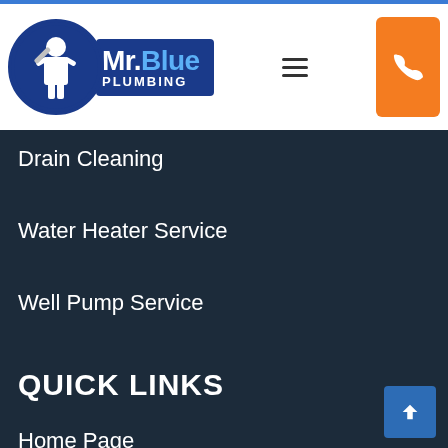[Figure (logo): Mr. Blue Plumbing logo with plumber silhouette in blue circle and blue badge with company name]
Drain Cleaning
Water Heater Service
Well Pump Service
QUICK LINKS
Home Page